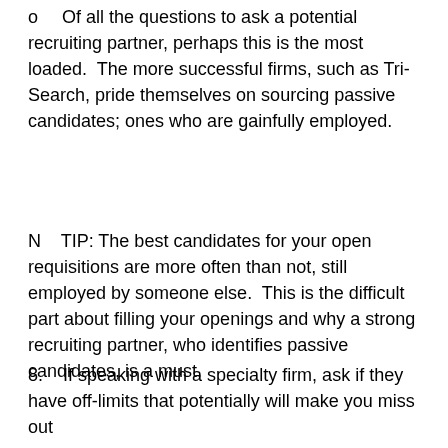o    Of all the questions to ask a potential recruiting partner, perhaps this is the most loaded.  The more successful firms, such as Tri-Search, pride themselves on sourcing passive candidates; ones who are gainfully employed.
N    TIP: The best candidates for your open requisitions are more often than not, still employed by someone else.  This is the difficult part about filling your openings and why a strong recruiting partner, who identifies passive candidates, is a must.
8.    If speaking with a specialty firm, ask if they have off-limits that potentially will make you miss out